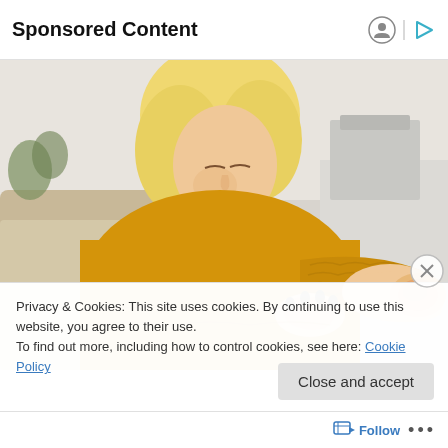Sponsored Content
[Figure (photo): Young blonde woman in a yellow knit sweater looking at her forearm/elbow, seated on a couch in a bright room]
Privacy & Cookies: This site uses cookies. By continuing to use this website, you agree to their use.
To find out more, including how to control cookies, see here: Cookie Policy
Close and accept
Follow ...